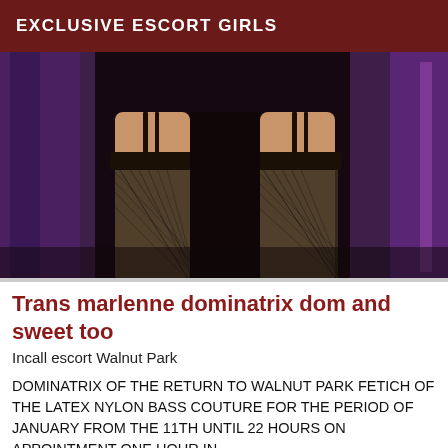EXCLUSIVE ESCORT GIRLS
[Figure (photo): Photo showing legs in fishnet stockings and garters against purple curtains in a dimly lit room]
Trans marlenne dominatrix dom and sweet too
Incall escort Walnut Park
DOMINATRIX OF THE RETURN TO WALNUT PARK FETICH OF THE LATEX NYLON BASS COUTURE FOR THE PERIOD OF JANUARY FROM THE 11TH UNTIL 22 HOURS ON APPOINTMENT ONE HOUR IN